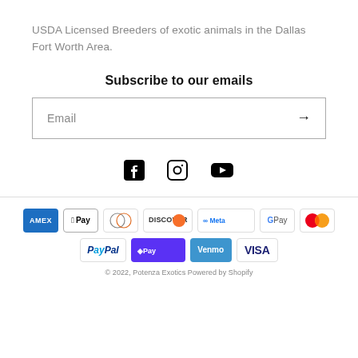USDA Licensed Breeders of exotic animals in the Dallas Fort Worth Area.
Subscribe to our emails
[Figure (other): Email subscription input box with arrow submit button]
[Figure (other): Social media icons: Facebook, Instagram, YouTube]
[Figure (other): Payment method logos: American Express, Apple Pay, Diners Club, Discover, Meta Pay, Google Pay, Mastercard, PayPal, Shop Pay, Venmo, Visa]
© 2022, Potenza Exotics Powered by Shopify